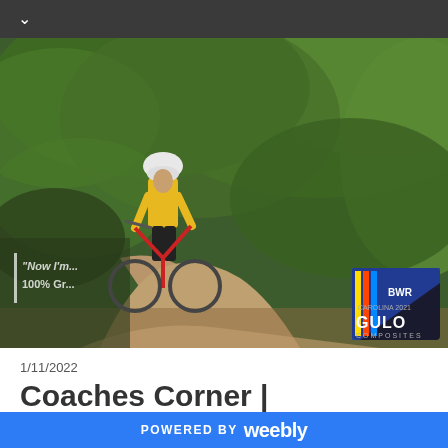[Figure (photo): Cyclist in yellow jersey riding a gravel bike on a dirt trail through lush green forest, with a BWR Gulo Composites logo overlay in the bottom right corner and a partial quote overlay on the left side]
1/11/2022
Coaches Corner | Healthy Training
POWERED BY weebly